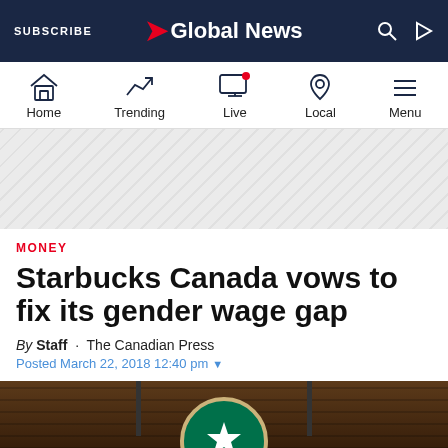SUBSCRIBE | Global News
[Figure (screenshot): Global News website navigation bar with Home, Trending, Live, Local, and Menu icons]
[Figure (other): Advertisement banner area with diagonal stripe pattern]
MONEY
Starbucks Canada vows to fix its gender wage gap
By Staff · The Canadian Press
Posted March 22, 2018 12:40 pm
[Figure (photo): Starbucks store sign/logo visible from below, brown wood background]